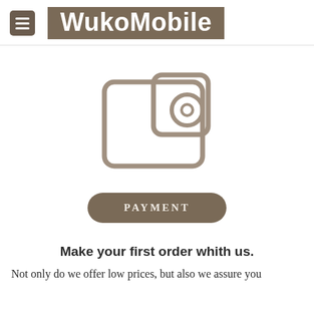WukoMobile
[Figure (illustration): Wallet icon — a simple line-art wallet with a coin/circle inside, rendered in gray]
PAYMENT
Make your first order whith us.
Not only do we offer low prices, but also we assure you